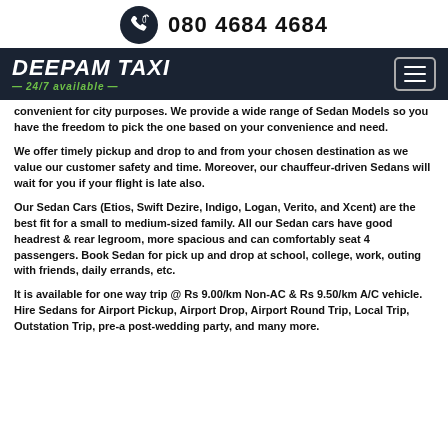080 4684 4684
[Figure (logo): DEEPAM TAXI logo with '24/7 available' tagline on dark navy background, with hamburger menu button on right]
convenient for city purposes. We provide a wide range of Sedan Models so you have the freedom to pick the one based on your convenience and need.
We offer timely pickup and drop to and from your chosen destination as we value our customer safety and time. Moreover, our chauffeur-driven Sedans will wait for you if your flight is late also.
Our Sedan Cars (Etios, Swift Dezire, Indigo, Logan, Verito, and Xcent) are the best fit for a small to medium-sized family. All our Sedan cars have good headrest & rear legroom, more spacious and can comfortably seat 4 passengers. Book Sedan for pick up and drop at school, college, work, outing with friends, daily errands, etc.
It is available for one way trip @ Rs 9.00/km Non-AC & Rs 9.50/km A/C vehicle. Hire Sedans for Airport Pickup, Airport Drop, Airport Round Trip, Local Trip, Outstation Trip, pre-a post-wedding party, and many more.